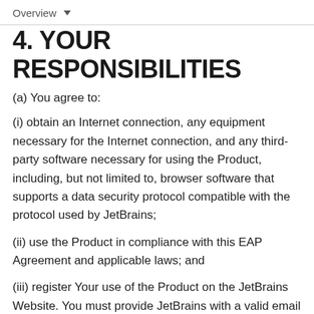Overview
4. YOUR RESPONSIBILITIES
(a) You agree to:
(i) obtain an Internet connection, any equipment necessary for the Internet connection, and any third-party software necessary for using the Product, including, but not limited to, browser software that supports a data security protocol compatible with the protocol used by JetBrains;
(ii) use the Product in compliance with this EAP Agreement and applicable laws; and
(iii) register Your use of the Product on the JetBrains Website. You must provide JetBrains with a valid email address and other accurate information as requested